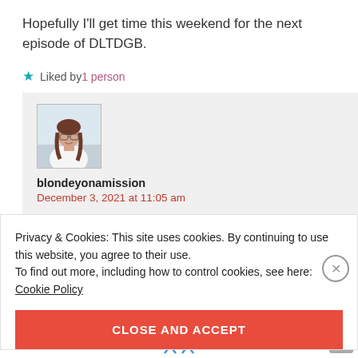Hopefully I'll get time this weekend for the next episode of DLTDGB.
★ Liked by 1 person
blondeyonamission
December 3, 2021 at 11:05 am
Privacy & Cookies: This site uses cookies. By continuing to use this website, you agree to their use.
To find out more, including how to control cookies, see here:
Cookie Policy
CLOSE AND ACCEPT